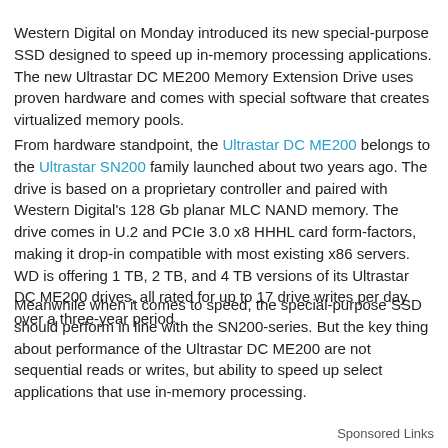Western Digital on Monday introduced its new special-purpose SSD designed to speed up in-memory processing applications. The new Ultrastar DC ME200 Memory Extension Drive uses proven hardware and comes with special software that creates virtualized memory pools.
From hardware standpoint, the Ultrastar DC ME200 belongs to the Ultrastar SN200 family launched about two years ago. The drive is based on a proprietary controller and paired with Western Digital's 128 Gb planar MLC NAND memory. The drive comes in U.2 and PCIe 3.0 x8 HHHL card form-factors, making it drop-in compatible with most existing x86 servers. WD is offering 1 TB, 2 TB, and 4 TB versions of its Ultrastar DC ME200 drives, all rated for up to 17 drive writes per day over a three-year period.
Meanwhile when it comes to speed, the special-purpose SSD should perform in line with the SN200-series. But the key thing about performance of the Ultrastar DC ME200 are not sequential reads or writes, but ability to speed up select applications that use in-memory processing.
Sponsored Links